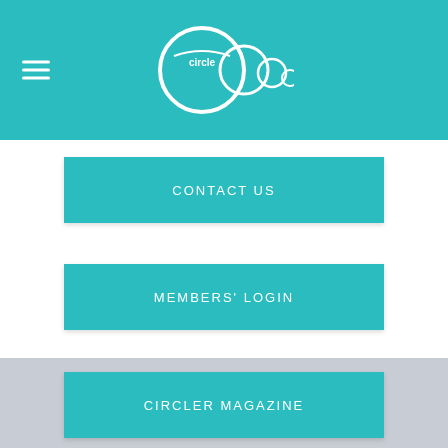[Figure (logo): Circle logo with interconnected circles and 'circle' text, white on teal background]
CONTACT US
MEMBERS' LOGIN
CIRCLER MAGAZINE